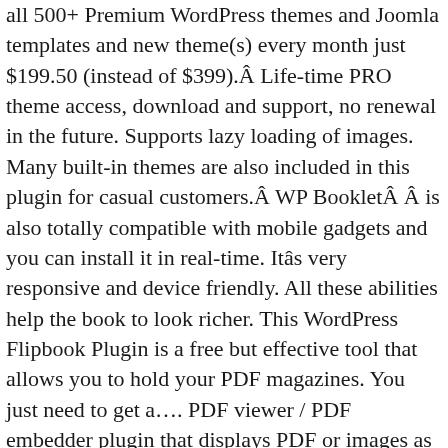all 500+ Premium WordPress themes and Joomla templates and new theme(s) every month just $199.50 (instead of $399).Â Life-time PRO theme access, download and support, no renewal in the future. Supports lazy loading of images. Many built-in themes are also included in this plugin for casual customers.Â WP BookletÂ Â is also totally compatible with mobile gadgets and you can install it in real-time. Itâs very responsive and device friendly. All these abilities help the book to look richer. This WordPress Flipbook Plugin is a free but effective tool that allows you to hold your PDF magazines. You just need to get a…. PDF viewer / PDF embedder plugin that displays PDF or images as Realistic 3D Flipbook…. DFlip WordPress flipbook plugin is based on modern WebGL technology which allows you to create image-based photo flipbooks. Here is a great WordPress Flipbook Plugin with thousands of features that can allow you to generate beautiful digital HTML flipbooks. Whatâs more, This WordPress Flipbook Plugin also includes clear instructions on how to embed PDF files or a publication